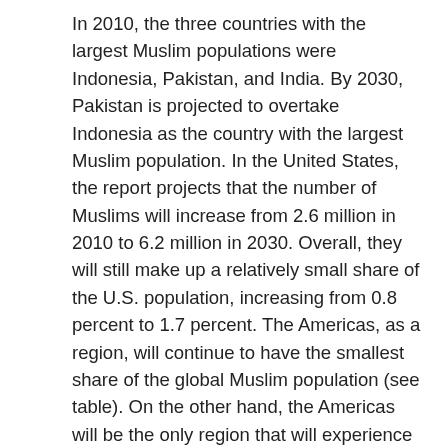In 2010, the three countries with the largest Muslim populations were Indonesia, Pakistan, and India. By 2030, Pakistan is projected to overtake Indonesia as the country with the largest Muslim population. In the United States, the report projects that the number of Muslims will increase from 2.6 million in 2010 to 6.2 million in 2030. Overall, they will still make up a relatively small share of the U.S. population, increasing from 0.8 percent to 1.7 percent. The Americas, as a region, will continue to have the smallest share of the global Muslim population (see table). On the other hand, the Americas will be the only region that will experience an increase in the Muslim population growth rates through 2020, largely due to immigration. In the United States today, about 36 percent of Muslims are born in the United States, while 64 percent are first-generation immigrants. By 2030, about 45 percent of the U.S. Muslim population is expected to be born in the United States. In Canada, the number of Muslims is projected to triple from about 940,000 in 2010 to 2.7 million in 2030.